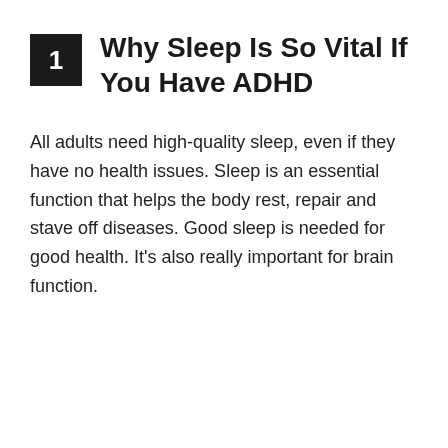1 Why Sleep Is So Vital If You Have ADHD
All adults need high-quality sleep, even if they have no health issues. Sleep is an essential function that helps the body rest, repair and stave off diseases. Good sleep is needed for good health. It's also really important for brain function.